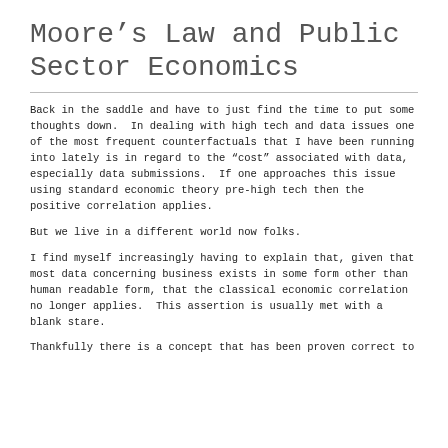Moore's Law and Public Sector Economics
Back in the saddle and have to just find the time to put some thoughts down.  In dealing with high tech and data issues one of the most frequent counterfactuals that I have been running into lately is in regard to the “cost” associated with data, especially data submissions.  If one approaches this issue using standard economic theory pre-high tech then the positive correlation applies.
But we live in a different world now folks.
I find myself increasingly having to explain that, given that most data concerning business exists in some form other than human readable form, that the classical economic correlation no longer applies.  This assertion is usually met with a blank stare.
Thankfully there is a concept that has been proven correct to